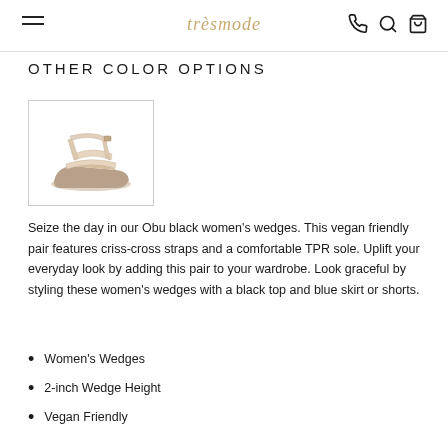trèsmode
OTHER COLOR OPTIONS
[Figure (photo): A beige/nude women's wedge sandal with criss-cross straps, shown inside a bordered thumbnail box.]
Seize the day in our Obu black women's wedges. This vegan friendly pair features criss-cross straps and a comfortable TPR sole. Uplift your everyday look by adding this pair to your wardrobe. Look graceful by styling these women's wedges with a black top and blue skirt or shorts.
Women's Wedges
2-inch Wedge Height
Vegan Friendly